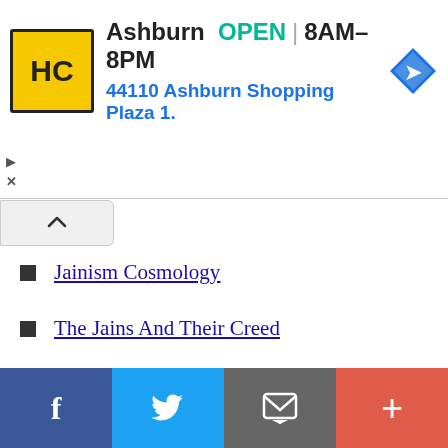[Figure (infographic): Advertisement banner for HC store in Ashburn. Logo with HC initials on yellow background, text shows Ashburn OPEN 8AM-8PM, 44110 Ashburn Shopping Plaza 1., navigation arrow icon on right.]
Jainism Cosmology
The Jains And Their Creed
Jainism - Doctrine and History
This website uses cookies to ensure you get the best experience on our website.
Got it!
[Figure (infographic): Social sharing bar with four buttons: Facebook (blue), Twitter (light blue), Email/envelope (gray), Plus/more (coral red)]